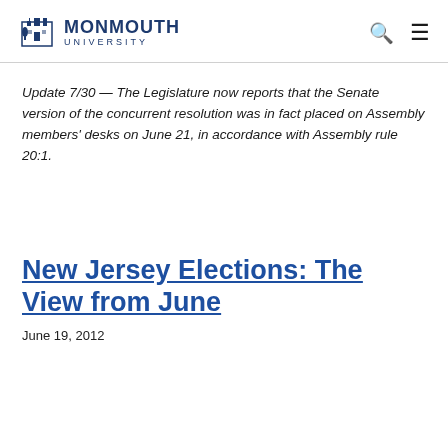MONMOUTH UNIVERSITY
Update 7/30 — The Legislature now reports that the Senate version of the concurrent resolution was in fact placed on Assembly members' desks on June 21, in accordance with Assembly rule 20:1.
New Jersey Elections: The View from June
June 19, 2012